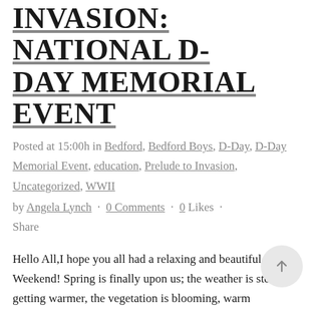INVASION: NATIONAL D-DAY MEMORIAL EVENT
Posted at 15:00h in Bedford, Bedford Boys, D-Day, D-Day Memorial Event, education, Prelude to Invasion, Uncategorized, WWII by Angela Lynch · 0 Comments · 0 Likes · Share
Hello All,I hope you all had a relaxing and beautiful Easter Weekend! Spring is finally upon us; the weather is steadily getting warmer, the vegetation is blooming, warm